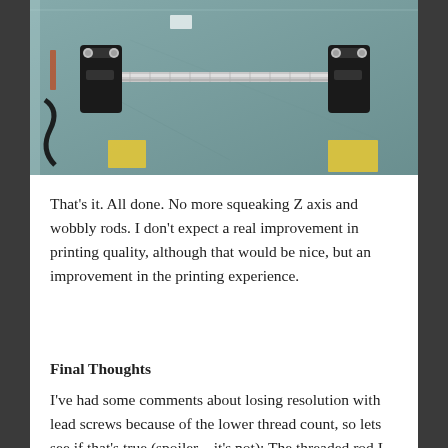[Figure (photo): Top-down view of a 3D printer Z-axis assembly showing two black rod clamps connected by a horizontal silver rod/leadscrew, mounted inside a clear acrylic enclosure with a teal/gray build surface visible and yellow tape pieces in the corners.]
That's it. All done. No more squeaking Z axis and wobbly rods. I don't expect a real improvement in printing quality, although that would be nice, but an improvement in the printing experience.
Final Thoughts
I've had some comments about losing resolution with lead screws because of the lower thread count, so lets see if that's true (spoiler – it's not): The threaded rod I had measured at about 1 mm